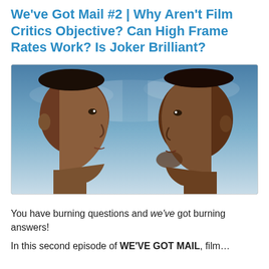We've Got Mail #2 | Why Aren't Film Critics Objective? Can High Frame Rates Work? Is Joker Brilliant?
[Figure (photo): Two men facing each other in profile against a blue sky background — promotional movie image, likely from Gemini Man featuring Will Smith.]
You have burning questions and we've got burning answers!
In this second episode of WE'VE GOT MAIL, film...